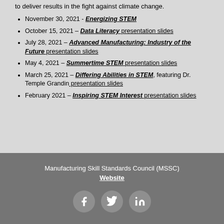to deliver results in the fight against climate change.
November 30, 2021 - Energizing STEM
October 15, 2021 – Data Literacy presentation slides
July 28, 2021 – Advanced Manufacturing: Industry of the Future presentation slides
May 4, 2021 – Summertime STEM presentation slides
March 25, 2021 – Differing Abilities in STEM, featuring Dr. Temple Grandin presentation slides
February 2021 – Inspiring STEM Interest presentation slides
Manufacturing Skill Standards Council (MSSC) Website